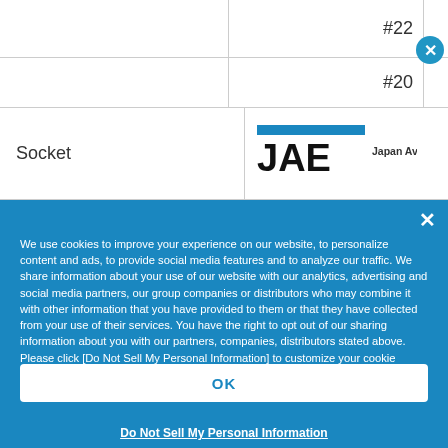|  | #22 |
|  | #20 |
| Socket |  |
[Figure (logo): JAE Japan Aviation Electronics logo]
We use cookies to improve your experience on our website, to personalize content and ads, to provide social media features and to analyze our traffic. We share information about your use of our website with our analytics, advertising and social media partners, our group companies or distributors who may combine it with other information that you have provided to them or that they have collected from your use of their services. You have the right to opt out of our sharing information about you with our partners, companies, distributors stated above. Please click [Do Not Sell My Personal Information] to customize your cookie settings on our website. Cookie Policy
OK
Do Not Sell My Personal Information